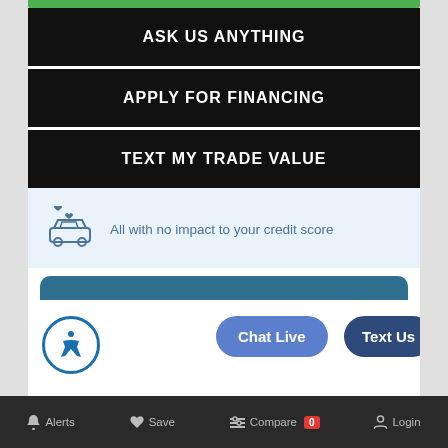ASK US ANYTHING
APPLY FOR FINANCING
TEXT MY TRADE VALUE
All with no impact to your credit score
Estimate financing
[Figure (logo): Capital One logo in white text with red swoosh]
Chat Live
Text Us
Alerts  Save  Compare 0  Login